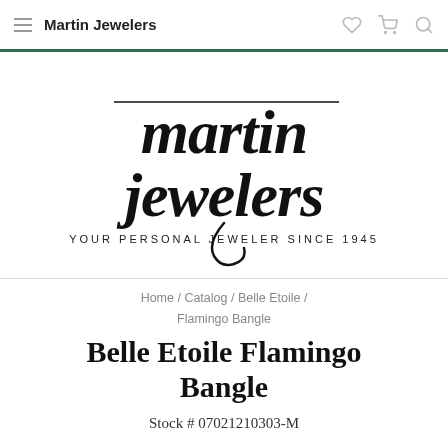Martin Jewelers
[Figure (logo): Martin Jewelers logo — cursive script text reading 'martin jewelers' with tagline 'YOUR PERSONAL JEWELER SINCE 1945']
Home / Catalog / Belle Etoile / Flamingo Bangle
Belle Etoile Flamingo Bangle
Stock # 07021210303-M